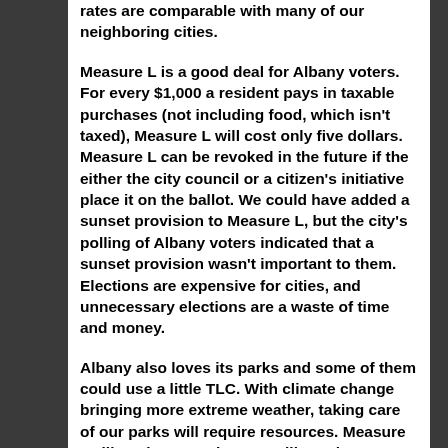rates are comparable with many of our neighboring cities.
Measure L is a good deal for Albany voters. For every $1,000 a resident pays in taxable purchases (not including food, which isn't taxed), Measure L will cost only five dollars. Measure L can be revoked in the future if the either the city council or a citizen's initiative place it on the ballot. We could have added a sunset provision to Measure L, but the city's polling of Albany voters indicated that a sunset provision wasn't important to them. Elections are expensive for cities, and unnecessary elections are a waste of time and money.
Albany also loves its parks and some of them could use a little TLC. With climate change bringing more extreme weather, taking care of our parks will require resources. Measure M, like other parcel taxes, will require a super-majority vote. I'm not sure we'll clear that hurdle, but I'll do my part by voting for Measure M, and I hope enough of my fellow citizens do, too.